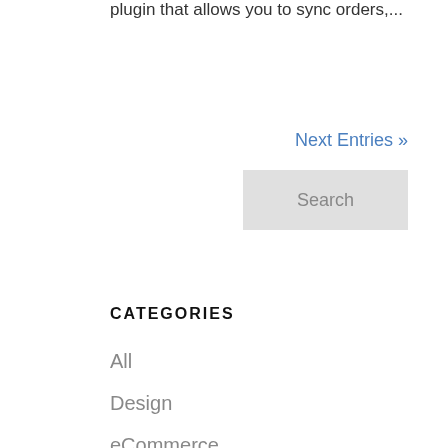plugin that allows you to sync orders,...
Next Entries »
Search
CATEGORIES
All
Design
eCommerce
Fun
How To
Inside Cadence Labs
Javascript
Laravel
Magento